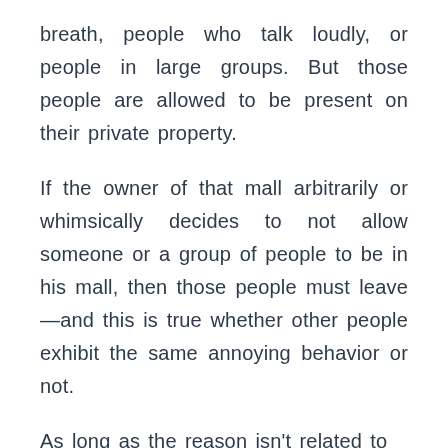breath, people who talk loudly, or people in large groups. But those people are allowed to be present on their private property.
If the owner of that mall arbitrarily or whimsically decides to not allow someone or a group of people to be in his mall, then those people must leave—and this is true whether other people exhibit the same annoying behavior or not.
As long as the reason isn't related to